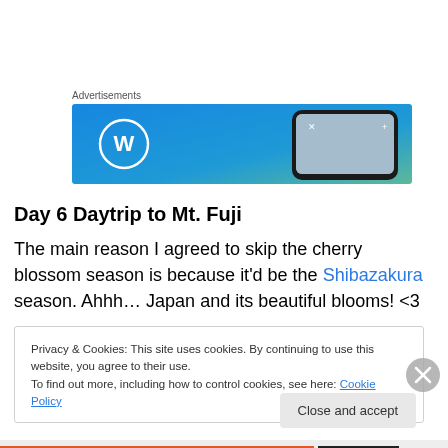Advertisements
[Figure (illustration): WordPress advertisement banner with blue gradient background, WordPress logo (W in circle) on left, and smartphone with waterfall image on right]
Day 6 Daytrip to Mt. Fuji
The main reason I agreed to skip the cherry blossom season is because it'd be the Shibazakura season. Ahhh… Japan and its beautiful blooms! <3
Privacy & Cookies: This site uses cookies. By continuing to use this website, you agree to their use.
To find out more, including how to control cookies, see here: Cookie Policy